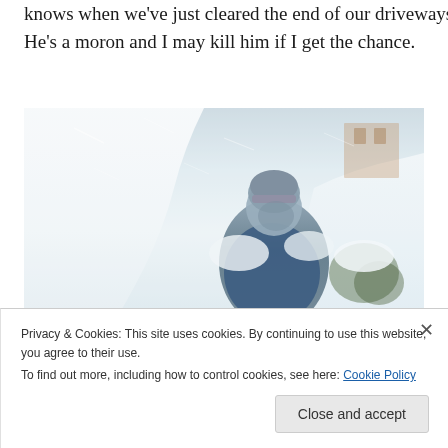knows when we've just cleared the end of our driveways. He's a moron and I may kill him if I get the chance.
[Figure (photo): A person wearing a grey knit hat and blue jacket shoveling or clearing heavy snow during a blizzard. Large mounds of snow surround the person. A building is partially visible in the background through the snow and fog.]
Privacy & Cookies: This site uses cookies. By continuing to use this website, you agree to their use.
To find out more, including how to control cookies, see here: Cookie Policy